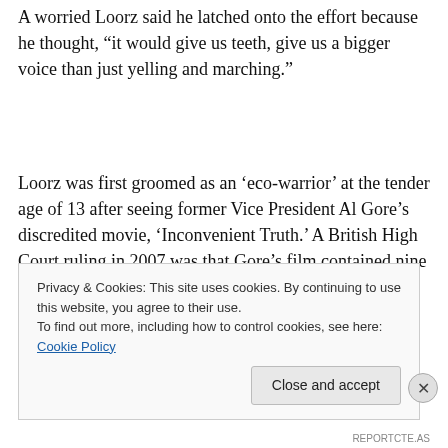A worried Loorz said he latched onto the effort because he thought, “it would give us teeth, give us a bigger voice than just yelling and marching.”
Loorz was first groomed as an ‘eco-warrior’ at the tender age of 13 after seeing former Vice President Al Gore’s discredited movie, ‘Inconvenient Truth.’ A British High Court ruling in 2007 was that Gore’s film contained nine lies. The judge ruled that the film can only be shown to
Privacy & Cookies: This site uses cookies. By continuing to use this website, you agree to their use.
To find out more, including how to control cookies, see here: Cookie Policy
Close and accept
REPORTCTE.AS